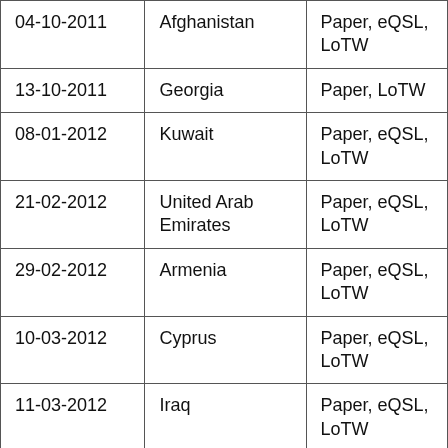| 04-10-2011 | Afghanistan | Paper, eQSL, LoTW |
| 13-10-2011 | Georgia | Paper, LoTW |
| 08-01-2012 | Kuwait | Paper, eQSL, LoTW |
| 21-02-2012 | United Arab Emirates | Paper, eQSL, LoTW |
| 29-02-2012 | Armenia | Paper, eQSL, LoTW |
| 10-03-2012 | Cyprus | Paper, eQSL, LoTW |
| 11-03-2012 | Iraq | Paper, eQSL, LoTW |
| 21-03-2012 | Vietnam | Paper, eQSL, LoTW |
| 28-03-2012 | Sri Lanka | Paper, eQSL, |